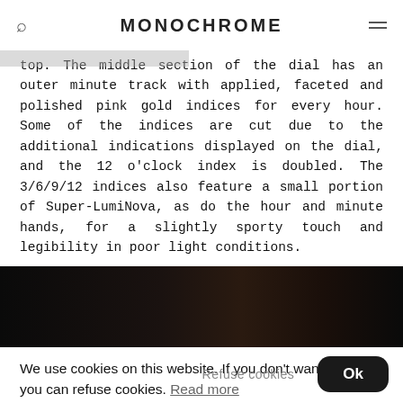MONOCHROME
top. The middle section of the dial has an outer minute track with applied, faceted and polished pink gold indices for every hour. Some of the indices are cut due to the additional indications displayed on the dial, and the 12 o'clock index is doubled. The 3/6/9/12 indices also feature a small portion of Super-LumiNova, as do the hour and minute hands, for a slightly sporty touch and legibility in poor light conditions.
[Figure (photo): Dark photograph of a watch, partially visible at the bottom of the content area]
We use cookies on this website. If you don't want them, you can refuse cookies. Read more